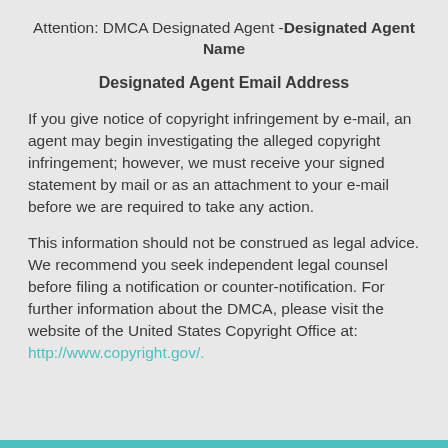Attention: DMCA Designated Agent - Designated Agent Name
Designated Agent Email Address
If you give notice of copyright infringement by e-mail, an agent may begin investigating the alleged copyright infringement; however, we must receive your signed statement by mail or as an attachment to your e-mail before we are required to take any action.
This information should not be construed as legal advice. We recommend you seek independent legal counsel before filing a notification or counter-notification. For further information about the DMCA, please visit the website of the United States Copyright Office at: http://www.copyright.gov/.